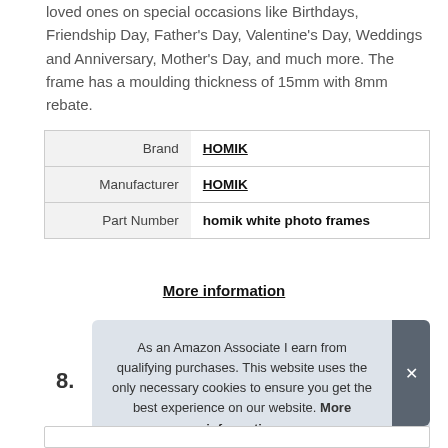loved ones on special occasions like Birthdays, Friendship Day, Father's Day, Valentine's Day, Weddings and Anniversary, Mother's Day, and much more. The frame has a moulding thickness of 15mm with 8mm rebate.
| Brand | HOMIK |
| Manufacturer | HOMIK |
| Part Number | homik white photo frames |
More information
As an Amazon Associate I earn from qualifying purchases. This website uses the only necessary cookies to ensure you get the best experience on our website. More information